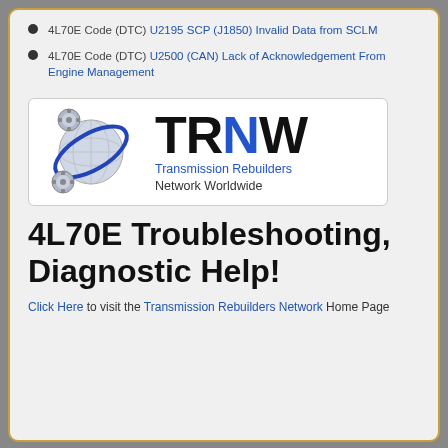4L70E Code (DTC) U2195 SCP (J1850) Invalid Data from SCLM
4L70E Code (DTC) U2500 (CAN) Lack of Acknowledgement From Engine Management
[Figure (logo): TRNW Transmission Rebuilders Network Worldwide logo with globe and gears graphic]
4L70E Troubleshooting, Diagnostic Help!
Click Here to visit the Transmission Rebuilders Network Home Page